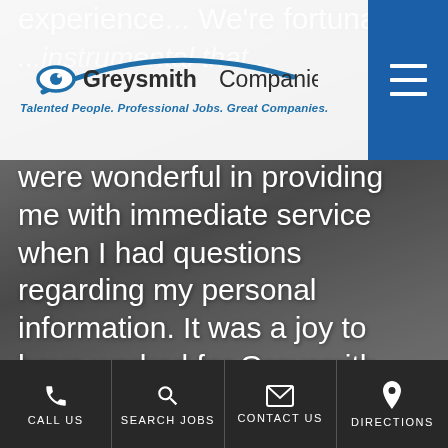[Figure (screenshot): Mobile website screenshot of Greysmith Companies staffing agency with a background photo of office workers' legs/feet at a desk, showing a customer testimonial quote in large white text overlaid on the image.]
Greysmith Companies – Talented People. Professional Jobs. Great Companies.
were wonderful in providing me with immediate service when I had questions regarding my personal information. It was a joy to have worked for Greysmith, and I do greatly appreciate all of the hard work and effort in following up on my assignment and also to see how I was doing. Highly recommend this temp agency if you are enthusiastic in working with people who are attentive to your work interest, by providing you
Call Us | Search Jobs | Contact Us | Directions